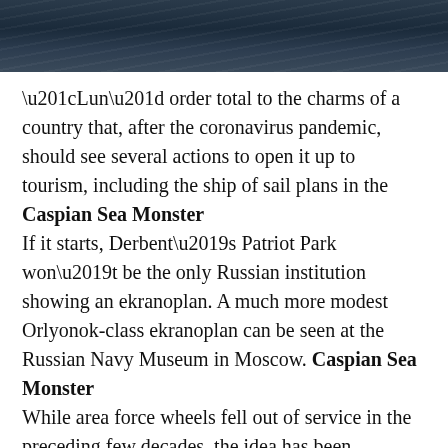[Figure (photo): Dark water surface image strip at the top of the page, showing dark blue/grey ocean or sea texture with horizontal wave patterns.]
“Lun” order total to the charms of a country that, after the coronavirus pandemic, should see several actions to open it up to tourism, including the ship of sail plans in the Caspian Sea Monster If it starts, Derbent’s Patriot Park won’t be the only Russian institution showing an ekranoplan. A much more modest Orlyonok-class ekranoplan can be seen at the Russian Navy Museum in Moscow. Caspian Sea Monster While area force wheels fell out of service in the preceding few decades, the idea has been undergoing a resurgence of late. Caspian Sea Monster Developers in Singapore, the United States, China, and Russia continue going on various designs that try to make ekranoplans after time, although with slightly